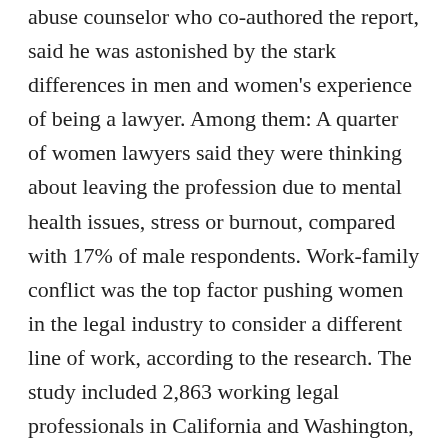abuse counselor who co-authored the report, said he was astonished by the stark differences in men and women's experience of being a lawyer. Among them: A quarter of women lawyers said they were thinking about leaving the profession due to mental health issues, stress or burnout, compared with 17% of male respondents. Work-family conflict was the top factor pushing women in the legal industry to consider a different line of work, according to the research. The study included 2,863 working legal professionals in California and Washington, D.C and also found that although stress was the main issue for men who want to leave the law, women experienced stress at greater rates than men: Two-thirds of women reported